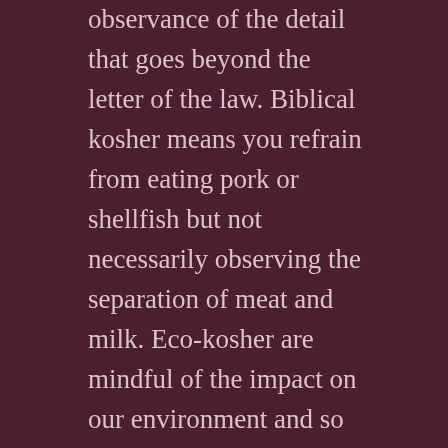observance of the detail that goes beyond the letter of the law. Biblical kosher means you refrain from eating pork or shellfish but not necessarily observing the separation of meat and milk. Eco-kosher are mindful of the impact on our environment and so you might eat only organic meats (even if they weren't slaughtered in a kosher meat house) or you might declare certain foods treif because of the way they treat the workers who processed the foods.
But the point is to draw God close in all we do. Even in the foods we prepare and eat. That is the point of a religious life, morality, ethics and drawing the Divine